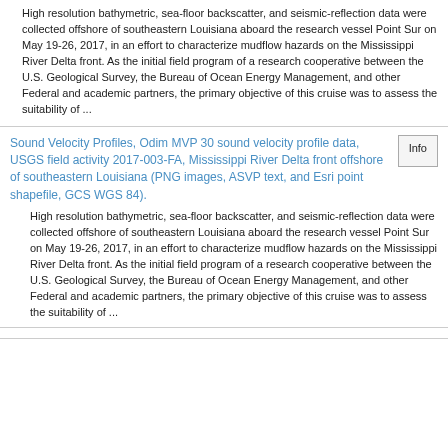High resolution bathymetric, sea-floor backscatter, and seismic-reflection data were collected offshore of southeastern Louisiana aboard the research vessel Point Sur on May 19-26, 2017, in an effort to characterize mudflow hazards on the Mississippi River Delta front. As the initial field program of a research cooperative between the U.S. Geological Survey, the Bureau of Ocean Energy Management, and other Federal and academic partners, the primary objective of this cruise was to assess the suitability of ...
Sound Velocity Profiles, Odim MVP 30 sound velocity profile data, USGS field activity 2017-003-FA, Mississippi River Delta front offshore of southeastern Louisiana (PNG images, ASVP text, and Esri point shapefile, GCS WGS 84).
High resolution bathymetric, sea-floor backscatter, and seismic-reflection data were collected offshore of southeastern Louisiana aboard the research vessel Point Sur on May 19-26, 2017, in an effort to characterize mudflow hazards on the Mississippi River Delta front. As the initial field program of a research cooperative between the U.S. Geological Survey, the Bureau of Ocean Energy Management, and other Federal and academic partners, the primary objective of this cruise was to assess the suitability of ...